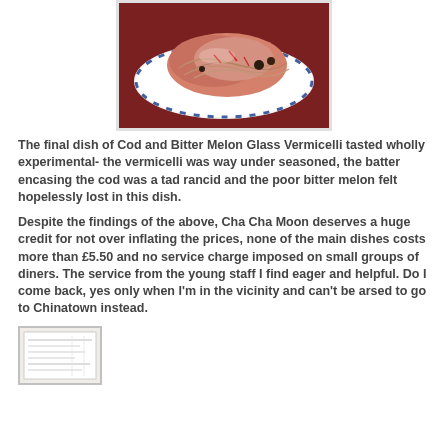[Figure (photo): A plate of Cod and Bitter Melon Glass Vermicelli dish on a white and blue plate, showing reddish-pink meat with noodles on a red/maroon background.]
The final dish of Cod and Bitter Melon Glass Vermicelli tasted wholly experimental- the vermicelli was way under seasoned, the batter encasing the cod was a tad rancid and the poor bitter melon felt hopelessly lost in this dish.
Despite the findings of the above, Cha Cha Moon deserves a huge credit for not over inflating the prices, none of the main dishes costs more than £5.50 and no service charge imposed on small groups of diners. The service from the young staff I find eager and helpful. Do I come back, yes only when I'm in the vicinity and can't be arsed to go to Chinatown instead.
[Figure (photo): A small thumbnail image of what appears to be a receipt or bill.]